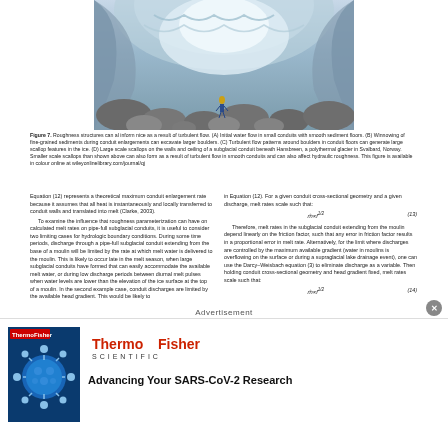[Figure (photo): Photograph of a glacial ice cave interior showing a person standing among large boulders with scalloped ice formations on the walls and ceiling]
Figure 7. Roughness structures can al inform nice as a result of turbulent flow. (A) Initial water flow in small conduits with smooth sediment floors. (B) Winnowing of fine-grained sediments during conduit enlargements can excavate larger boulders. (C) Turbulent flow patterns around boulders in conduit floors can generate large scallop features in the ice. (D) Large scale scallops on the walls and ceiling of a subglacial conduit beneath Hansbreen, a polythermal glacier in Svalbard, Norway. Smaller scale scallops than shown above can also form as a result of turbulent flow in smooth conduits and can also affect hydraulic roughness. This figure is available in colour online at wileyonlinelibrary.com/journal/qj
Equation (12) represents a theoretical maximum conduit enlargement rate because it assumes that all heat is instantaneously and locally transferred to conduit walls and translated into melt (Clarke, 2003). To examine the influence that roughness parameterization can have on calculated melt rates on pipe-full subglacial conduits, it is useful to consider two limiting cases for hydrologic boundary conditions. During some time periods, discharge through a pipe-full subglacial conduit extending from the base of a moulin will be limited by the rate at which melt water is delivered to the moulin. This is likely to occur late in the melt season, when large subglacial conduits have formed that can easily accommodate the available melt water, or during low discharge periods between diurnal melt pulses when water levels are lower than the elevation of the ice surface at the top of a moulin. In the second example case, conduit discharges are limited by the available head gradient. This would be likely to
in Equation (12). For a given conduit cross-sectional geometry and a given discharge, melt rates scale such that: Therefore, melt rates in the subglacial conduit extending from the moulin depend linearly on the friction factor, such that any error in friction factor results in a proportional error in melt rate. Alternatively, for the limit where discharges are controlled by the maximum available gradient (water in moulins is overflowing on the surface or during a supraglacial lake drainage event), one can use the Darcy-Weisbach equation (3) to eliminate discharge as a variable. Then holding conduit cross-sectional geometry and head gradient fixed, melt rates scale such that:
[Figure (photo): Thermo Fisher Scientific advertisement showing a blue coronavirus/SARS-CoV-2 particle illustration on the left with the Thermo Fisher Scientific logo and the text 'Advancing Your SARS-CoV-2 Research']
Advancing Your SARS-CoV-2 Research